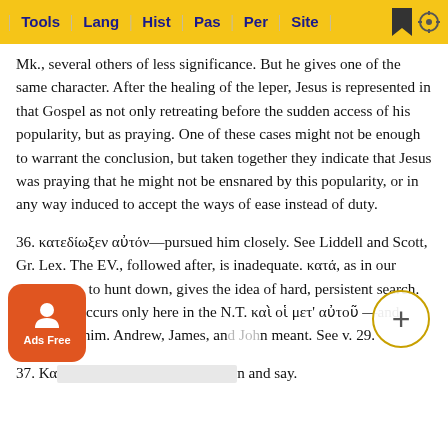Tools | Lang | Hist | Pas | Per | Site
Mk., several others of less significance. But he gives one of the same character. After the healing of the leper, Jesus is represented in that Gospel as not only retreating before the sudden access of his popularity, but as praying. One of these cases might not be enough to warrant the conclusion, but taken together they indicate that Jesus was praying that he might not be ensnared by this popularity, or in any way induced to accept the ways of ease instead of duty.
36. κατεδίωξεν αὐτόν—pursued him closely. See Liddell and Scott, Gr. Lex. The EV., followed after, is inadequate. κατά, as in our expression, to hunt down, gives the idea of hard, persistent search. The word occurs only here in the N.T. καὶ οἱ μετ' αὐτοῦ —and those with him. Andrew, James, and John meant. See v. 29.
37. Κα... and say.